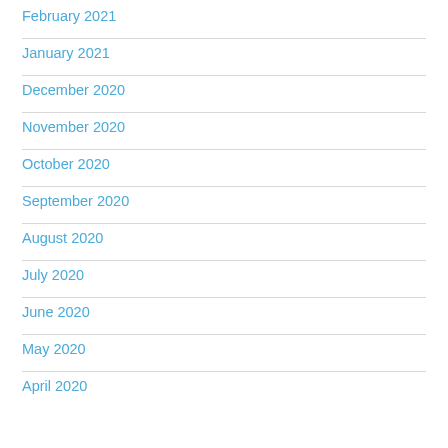February 2021
January 2021
December 2020
November 2020
October 2020
September 2020
August 2020
July 2020
June 2020
May 2020
April 2020